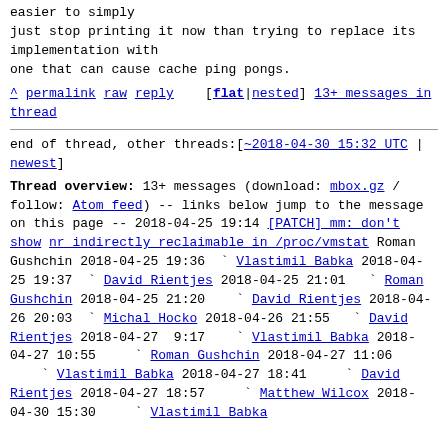easier to simply
just stop printing it now than trying to replace its implementation with
one that can cause cache ping pongs.
^ permalink raw reply   [flat|nested] 13+ messages in thread
end of thread, other threads:[~2018-04-30 15:32 UTC | newest]
Thread overview: 13+ messages (download: mbox.gz / follow: Atom feed)
-- links below jump to the message on this page --
2018-04-25 19:14 [PATCH] mm: don't show nr_indirectly_reclaimable in /proc/vmstat Roman Gushchin
2018-04-25 19:36 ` Vlastimil Babka
2018-04-25 19:37 ` David Rientjes
2018-04-25 21:01   ` Roman Gushchin
2018-04-25 21:20     ` David Rientjes
2018-04-26 20:03 ` Michal Hocko
2018-04-26 21:55   ` David Rientjes
2018-04-27  9:17     ` Vlastimil Babka
2018-04-27 10:55       ` Roman Gushchin
2018-04-27 11:06       ` Vlastimil Babka
2018-04-27 18:41       ` David Rientjes
2018-04-27 18:57         ` Matthew Wilcox
2018-04-30 15:30         ` Vlastimil Babka